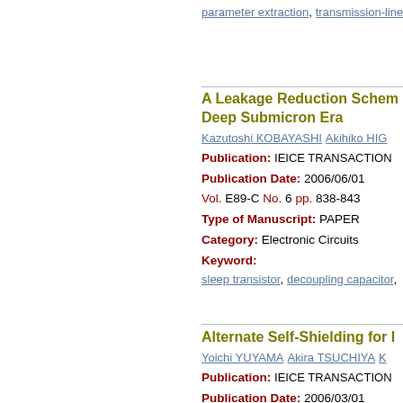parameter extraction, transmission-line
A Leakage Reduction Scheme for Deep Submicron Era
Kazutoshi KOBAYASHI Akihiko HIG
Publication: IEICE TRANSACTIONS
Publication Date: 2006/06/01
Vol. E89-C No. 6 pp. 838-843
Type of Manuscript: PAPER
Category: Electronic Circuits
Keyword:
sleep transistor, decoupling capacitor,
Alternate Self-Shielding for I
Yoichi YUYAMA Akira TSUCHIYA K
Publication: IEICE TRANSACTIONS
Publication Date: 2006/03/01
Vol. E89-C No. 3 pp. 327-333
Type of Manuscript: Special Section
Category: Interface and Interconnect T
Keyword: